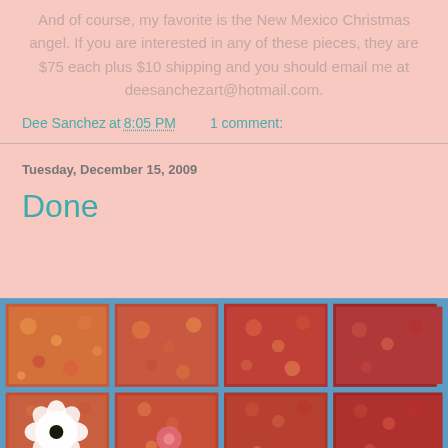And of course, my favorite is the New Mexico Christmas angel. If you are interested in any of these pieces, they are $75 each plus $10 shipping and you should email me at deesanchezart@hotmail.com.
Dee Sanchez at 8:05 PM    1 comment:
Tuesday, December 15, 2009
Done
[Figure (photo): A quilt artwork showing a grid of fabric squares separated by blue strips, featuring colorful floral and botanical fabric prints. One square in the middle-left area has a white appliqué flower. The overall pattern is rich with warm reds, oranges, yellows, pinks and greens.]